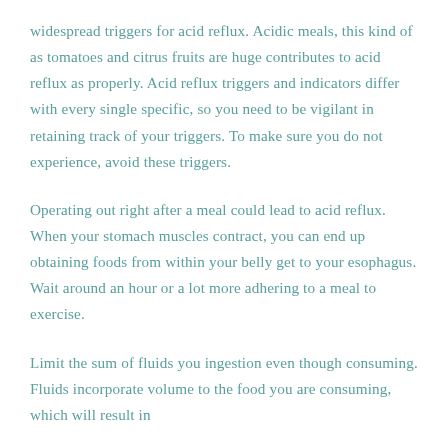widespread triggers for acid reflux. Acidic meals, this kind of as tomatoes and citrus fruits are huge contributes to acid reflux as properly. Acid reflux triggers and indicators differ with every single specific, so you need to be vigilant in retaining track of your triggers. To make sure you do not experience, avoid these triggers.
Operating out right after a meal could lead to acid reflux. When your stomach muscles contract, you can end up obtaining foods from within your belly get to your esophagus. Wait around an hour or a lot more adhering to a meal to exercise.
Limit the sum of fluids you ingestion even though consuming. Fluids incorporate volume to the food you are consuming, which will result in